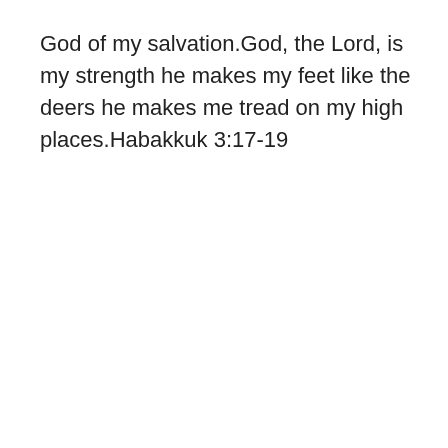God of my salvation.God, the Lord, is my strength he makes my feet like the deers he makes me tread on my high places.Habakkuk 3:17-19